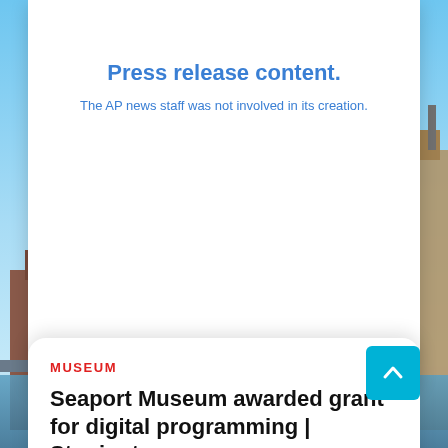Press release content.
The AP news staff was not involved in its creation.
October 9, 2020-By: Noble Horvath
[Figure (photo): City waterfront background photo showing buildings, water, and sky]
MUSEUM
Seaport Museum awarded grant for digital programming | Stonington